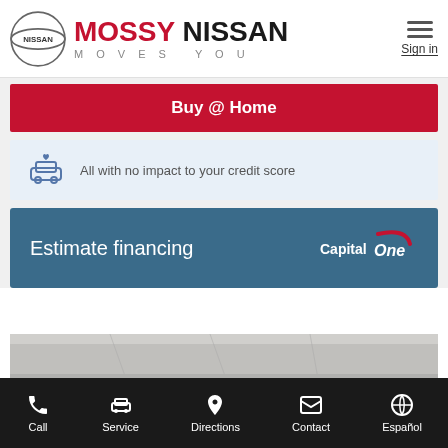[Figure (logo): Nissan circular logo and Mossy Nissan brand name with tagline MOVES YOU and hamburger menu with Sign in link]
Buy @ Home
All with no impact to your credit score
Estimate financing
[Figure (logo): Capital One logo in white on teal background]
[Figure (photo): Partial view of a garage or showroom interior]
Call  Service  Directions  Contact  Español